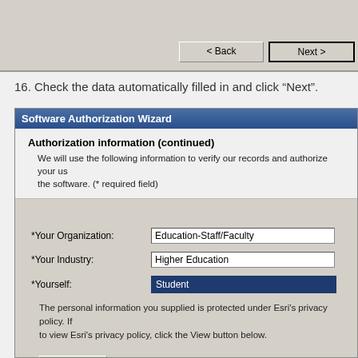[Figure (screenshot): Top portion of a software installer wizard dialog showing Back and Next navigation buttons on a gray Windows-style background.]
16. Check the data automatically filled in and click “Next”.
[Figure (screenshot): Software Authorization Wizard dialog showing Authorization information (continued) with form fields: *Your Organization: Education-Staff/Faculty, *Your Industry: Higher Education, *Yourself: Student (selected/highlighted in blue). Below is privacy policy text referencing Esri's privacy policy and a View... button.]